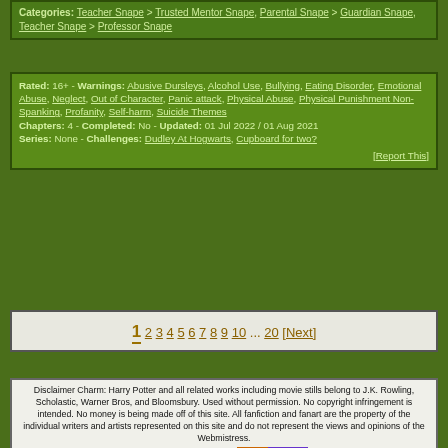Categories: Teacher Snape > Trusted Mentor Snape, Parental Snape > Guardian Snape, Teacher Snape > Professor Snape
Rated: 16+ - Warnings: Abusive Dursleys, Alcohol Use, Bullying, Eating Disorder, Emotional Abuse, Neglect, Out of Character, Panic attack, Physical Abuse, Physical Punishment Non-Spanking, Profanity, Self-harm, Suicide Themes Chapters: 4 - Completed: No - Updated: 01 Jul 2022 / 01 Aug 2021 Series: None - Challenges: Dudley At Hogwarts, Cupboard for two? [Report This]
1 2 3 4 5 6 7 8 9 10 ... 20 [Next]
Disclaimer Charm: Harry Potter and all related works including movie stills belong to J.K. Rowling, Scholastic, Warner Bros, and Bloomsbury. Used without permission. No copyright infringement is intended. No money is being made off of this site. All fanfiction and fanart are the property of the individual writers and artists represented on this site and do not represent the views and opinions of the Webmistress.
Powered by eFiction 3.3